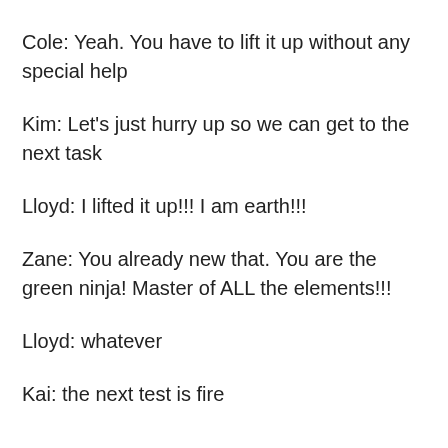Cole: Yeah. You have to lift it up without any special help
Kim: Let's just hurry up so we can get to the next task
Lloyd: I lifted it up!!! I am earth!!!
Zane: You already new that. You are the green ninja! Master of ALL the elements!!!
Lloyd: whatever
Kai: the next test is fire